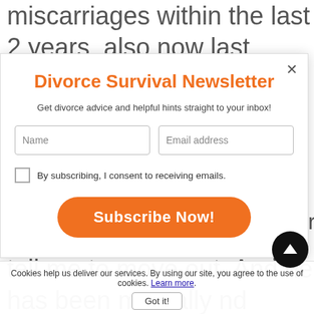miscarriages within the last 2 years, also now last Friday. Well last Friday we were going to leave to go on a family trip that I
[Figure (screenshot): Modal popup for Divorce Survival Newsletter with Name and Email address input fields, a consent checkbox, and an orange Subscribe Now! button. A close (×) button is in the top right corner.]
book to call me names and tell me to move out. And he has been mentally nd
Cookies help us deliver our services. By using our site, you agree to the use of cookies. Learn more. Got it!